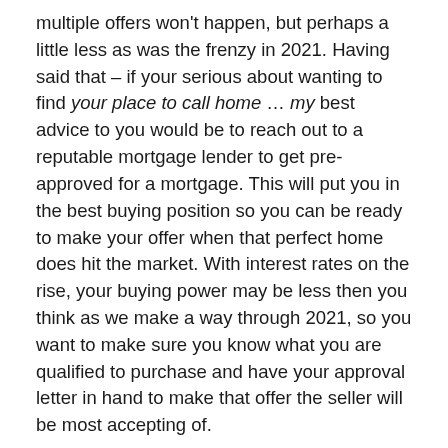multiple offers won't happen, but perhaps a little less as was the frenzy in 2021. Having said that – if your serious about wanting to find your place to call home ... my best advice to you would be to reach out to a reputable mortgage lender to get pre-approved for a mortgage. This will put you in the best buying position so you can be ready to make your offer when that perfect home does hit the market. With interest rates on the rise, your buying power may be less then you think as we make a way through 2021, so you want to make sure you know what you are qualified to purchase and have your approval letter in hand to make that offer the seller will be most accepting of.
For the Seller – On the flip side ... while it is still a seller's market, and should remain such throughout 2022, selling your house while buyer demand is high is key to getting your home sold for the highest price with the best terms. I would just caution you to not wait too long if selling your house is on your mind. While we expect another strong year...